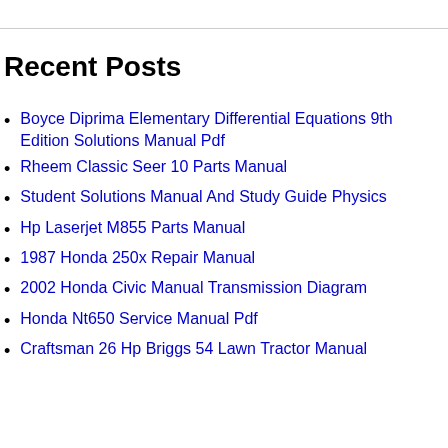Recent Posts
Boyce Diprima Elementary Differential Equations 9th Edition Solutions Manual Pdf
Rheem Classic Seer 10 Parts Manual
Student Solutions Manual And Study Guide Physics
Hp Laserjet M855 Parts Manual
1987 Honda 250x Repair Manual
2002 Honda Civic Manual Transmission Diagram
Honda Nt650 Service Manual Pdf
Craftsman 26 Hp Briggs 54 Lawn Tractor Manual